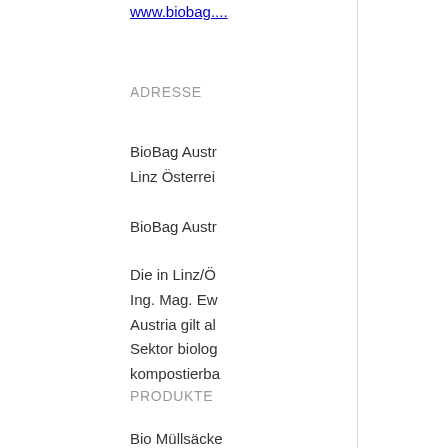www.biobag...
ADRESSE
BioBag Austr
Linz Österrei
BioBag Austr
Die in Linz/Ö
Ing. Mag. Ew
Austria gilt al
Sektor biolog
kompostierba
PRODUKTE
Bio Müllsäcke
Hundekotbeu
Papiersäcke
Größere Kart
•Tags•:  Produ